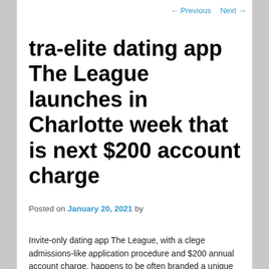← Previous   Next →
tra-elite dating app The League launches in Charlotte week that is next $200 account charge
Posted on January 20, 2021 by
Invite-only dating app The League, with a clege admissions-like application procedure and $200 annual account charge, happens to be often branded a unique